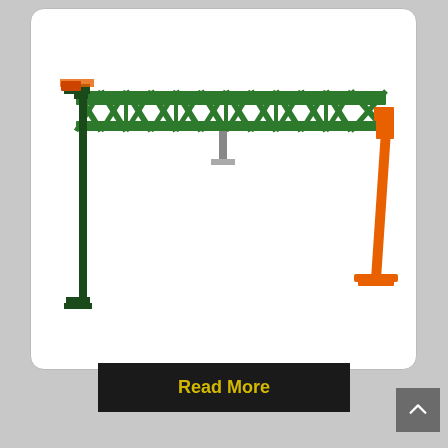[Figure (engineering-diagram): A heavy-duty construction truss or gantry beam assembly. The horizontal beam is a green lattice/truss structure spanning the width. On the left is a tall dark green vertical support column with adjustable jack. On the right is an orange diagonal brace/prop with a base plate. The structure appears to be a shoring or formwork support system.]
Read More